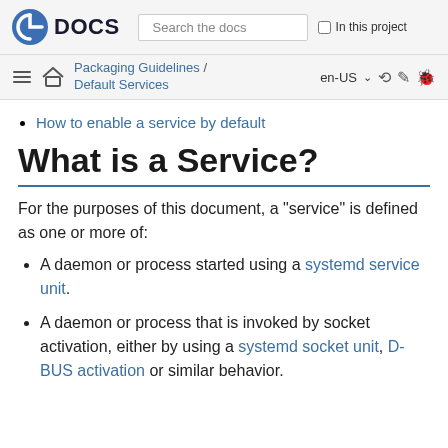Fedora DOCS | Search the docs | In this project
Packaging Guidelines / Default Services | en-US
How to enable a service by default
What is a Service?
For the purposes of this document, a "service" is defined as one or more of:
A daemon or process started using a systemd service unit.
A daemon or process that is invoked by socket activation, either by using a systemd socket unit, D-BUS activation or similar behavior.